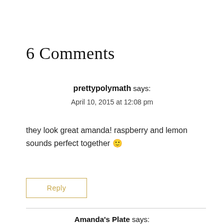6 Comments
prettypolymath says:
April 10, 2015 at 12:08 pm
they look great amanda! raspberry and lemon sounds perfect together 🙂
Reply
Amanda's Plate says: